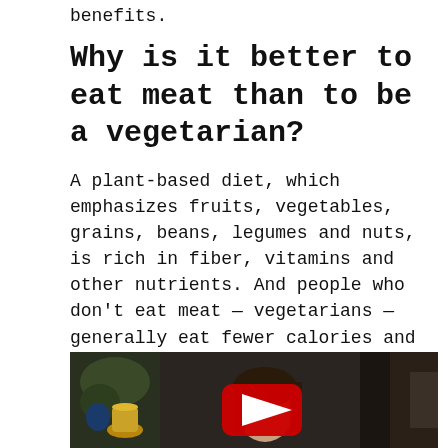benefits.
Why is it better to eat meat than to be a vegetarian?
A plant-based diet, which emphasizes fruits, vegetables, grains, beans, legumes and nuts, is rich in fiber, vitamins and other nutrients. And people who don't eat meat — vegetarians — generally eat fewer calories and less fat, weigh less, and have a lower risk of heart disease than nonvegetarians do.
[Figure (photo): Video thumbnail showing a woman in a restaurant setting with a YouTube play button overlay]